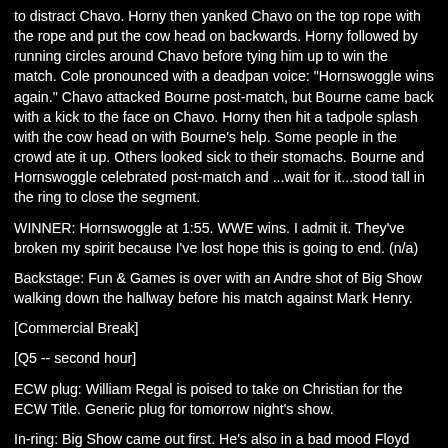to distract Chavo. Horny then yanked Chavo on the top rope with the rope and put the cow head on backwards. Horny followed by running circles around Chavo before tying him up to win the match. Cole pronounced with a deadpan voice: "Hornswoggle wins again." Chavo attacked Bourne post-match, but Bourne came back with a kick to the face on Chavo. Horny then hit a tadpole splash with the cow head on with Bourne's help. Some people in the crowd ate it up. Others looked sick to their stomachs. Bourne and Hornswoggle celebrated post-match and ...wait for it...stood tall in the ring to close the segment.
WINNER: Hornswoggle at 1:55. WWE wins. I admit it. They've broken my spirit because I've lost hope this is going to end. (n/a)
Backstage: Fun & Games is over with an Andre shot of Big Show walking down the hallway before his match against Mark Henry.
[Commercial Break]
[Q5 -- second hour]
ECW plug: William Regal is poised to take on Christian for the ECW Title. Generic plug for tomorrow night's show.
In-ring: Big Show came out first. He's also in a bad mood Floyd Mayweather cheated to put smiles on people's faces last week. Mark Henry then came out and the battle of giants was on.
4 -- Unified tag champion BIG SHOW vs. MARK HENRY
They started with a nice little shoving match. A stand-off. Nice star. This is the match Lanny vs. Masters should have been on Superstars two weeks